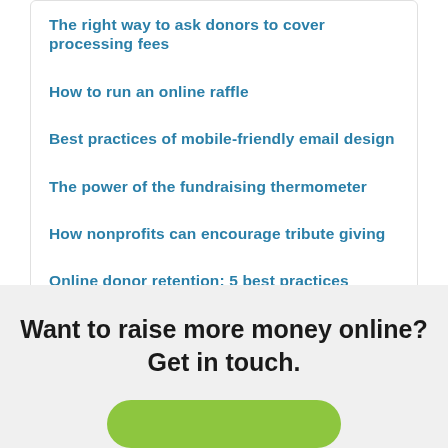The right way to ask donors to cover processing fees
How to run an online raffle
Best practices of mobile-friendly email design
The power of the fundraising thermometer
How nonprofits can encourage tribute giving
Online donor retention: 5 best practices
Want to raise more money online? Get in touch.